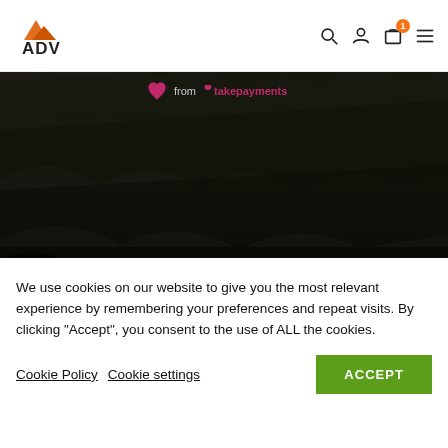ADV logo with navigation icons (search, account, cart with badge 1, menu)
[Figure (screenshot): Dark hero background with foliage/outdoor scene. Contains 'from takepayments' payment badge and overlay text: 'ADV Roof Tent and ADV Roof Tents are a brand owned and operated by Orange 4x4']
We use cookies on our website to give you the most relevant experience by remembering your preferences and repeat visits. By clicking “Accept”, you consent to the use of ALL the cookies.
Cookie Policy  Cookie settings  ACCEPT